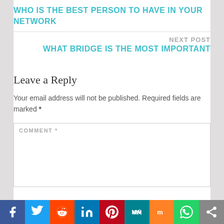WHO IS THE BEST PERSON TO HAVE IN YOUR NETWORK
NEXT POST
WHAT BRIDGE IS THE MOST IMPORTANT
Leave a Reply
Your email address will not be published. Required fields are marked *
COMMENT *
[Figure (logo): Facebook share button]
[Figure (logo): Twitter share button]
[Figure (logo): Reddit share button]
[Figure (logo): LinkedIn share button]
[Figure (logo): Pinterest share button]
[Figure (logo): MeWe share button]
[Figure (logo): Mix share button]
[Figure (logo): WhatsApp share button]
[Figure (logo): Share button]